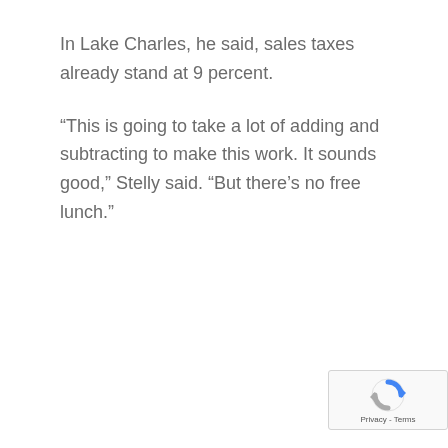In Lake Charles, he said, sales taxes already stand at 9 percent.
“This is going to take a lot of adding and subtracting to make this work. It sounds good,” Stelly said. “But there’s no free lunch.”
[Figure (logo): reCAPTCHA badge with logo and Privacy-Terms links]